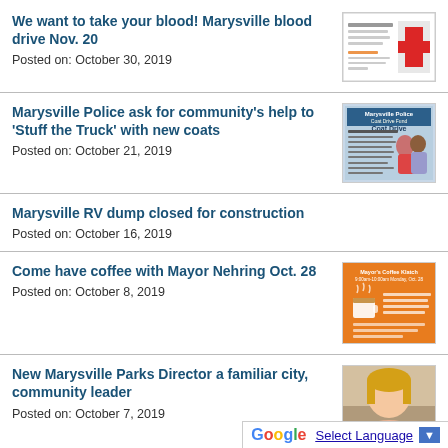We want to take your blood! Marysville blood drive Nov. 20
Posted on: October 30, 2019
Marysville Police ask for community's help to 'Stuff the Truck' with new coats
Posted on: October 21, 2019
Marysville RV dump closed for construction
Posted on: October 16, 2019
Come have coffee with Mayor Nehring Oct. 28
Posted on: October 8, 2019
New Marysville Parks Director a familiar city, community leader
Posted on: October 7, 2019
Ideas to promote tourism? Marysville gra…
Select Language ▼